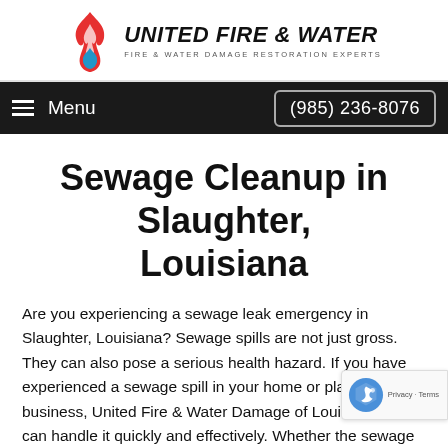[Figure (logo): United Fire & Water logo with flame and water drop icon, company name in bold italic, subtitle 'Fire & Water Damage Restoration Experts']
Menu | (985) 236-8076
Sewage Cleanup in Slaughter, Louisiana
Are you experiencing a sewage leak emergency in Slaughter, Louisiana? Sewage spills are not just gross. They can also pose a serious health hazard. If you have experienced a sewage spill in your home or place of business, United Fire & Water Damage of Louisiana, LLC can handle it quickly and effectively. Whether the sewage damage derived from a toilet overflow in Slaughter or a broken sewer pipe, the resulting mess is never pleasant.